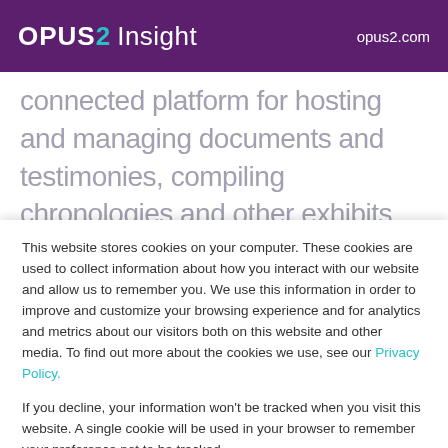OPUS2 Insight    opus2.com
connected platform for hosting and managing documents and testimonies, compiling chronologies and other exhibits, and preparing arguments for live
This website stores cookies on your computer. These cookies are used to collect information about how you interact with our website and allow us to remember you. We use this information in order to improve and customize your browsing experience and for analytics and metrics about our visitors both on this website and other media. To find out more about the cookies we use, see our Privacy Policy.
If you decline, your information won't be tracked when you visit this website. A single cookie will be used in your browser to remember your preference not to be tracked.
Cookie preferences    Accept    Decline